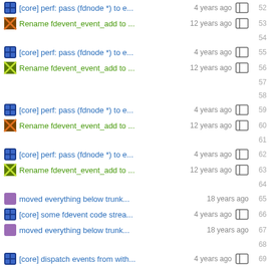[core] perf: pass (fdnode *) to e...  4 years ago  52
Rename fdevent_event_add to ...  12 years ago  53
54
[core] perf: pass (fdnode *) to e...  4 years ago  55
Rename fdevent_event_add to ...  12 years ago  56
57
58
[core] perf: pass (fdnode *) to e...  4 years ago  59
Rename fdevent_event_add to ...  12 years ago  60
61
[core] perf: pass (fdnode *) to e...  4 years ago  62
Rename fdevent_event_add to ...  12 years ago  63
64
moved everything below trunk...  18 years ago  65
[core] some fdevent code strea...  4 years ago  66
moved everything below trunk...  18 years ago  67
68
[core] dispatch events from with...  4 years ago  69
70
71
72